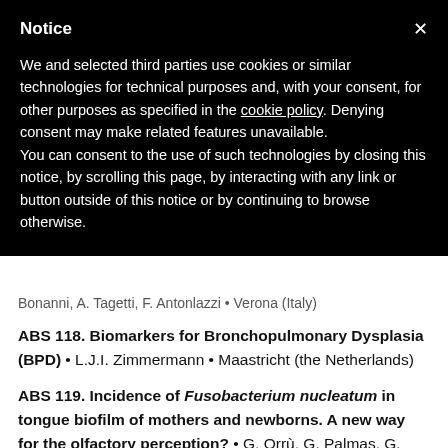Notice
We and selected third parties use cookies or similar technologies for technical purposes and, with your consent, for other purposes as specified in the cookie policy. Denying consent may make related features unavailable.
You can consent to the use of such technologies by closing this notice, by scrolling this page, by interacting with any link or button outside of this notice or by continuing to browse otherwise.
Bonanni, A. Tagetti, F. Antonlazzi • Verona (Italy)
ABS 118. Biomarkers for Bronchopulmonary Dysplasia (BPD) • L.J.I. Zimmermann • Maastricht (the Netherlands)
ABS 119. Incidence of Fusobacterium nucleatum in tongue biofilm of mothers and newborns. A new way for the olfactory perception? • G. Orrù, G. Palmas, G. Denotti, S. Fais, S. Angius, G. Pichiri, P. Coni, F. Coghe, A. Noto, A.